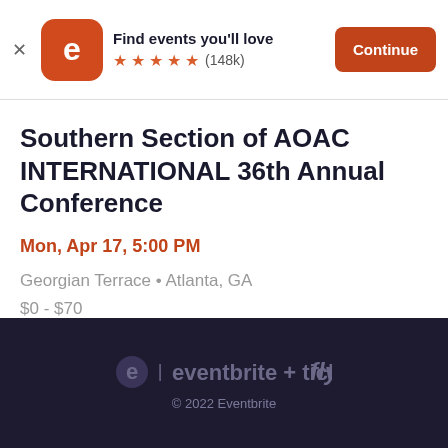[Figure (logo): Eventbrite app banner with orange logo, 5 star rating (148k reviews), and Continue button]
Southern Section of AOAC INTERNATIONAL 36th Annual Conference
Mon, Apr 17, 5:00 PM
Georgian Terrace • Atlanta, GA
$0 - $70
eventbrite + ticketfly
© 2022 Eventbrite